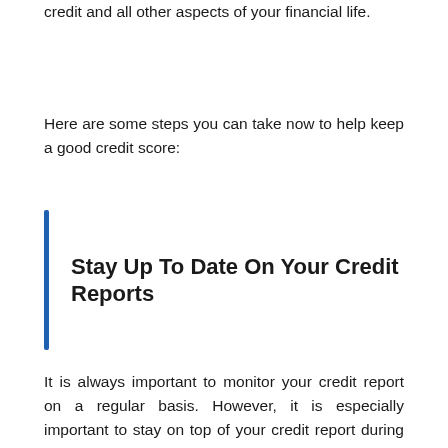credit and all other aspects of your financial life.
Here are some steps you can take now to help keep a good credit score:
Stay Up To Date On Your Credit Reports
It is always important to monitor your credit report on a regular basis. However, it is especially important to stay on top of your credit report during the crisis time. This way, you can identify any potentially fraudulent activity and respond to it before it damages your credit. You should check